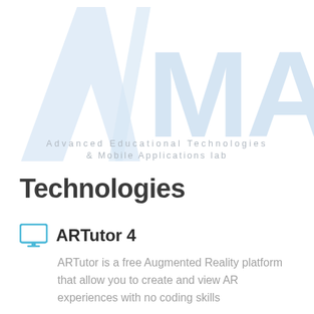[Figure (logo): Watermark logo of AEMa lab — a large light-blue stylized 'A' slash shape on the left and 'MA' letters on the right, with text 'Advanced Educational Technologies & Mobile Applications lab' below]
Technologies
ARTutor 4
ARTutor is a free Augmented Reality platform that allow you to create and view AR experiences with no coding skills